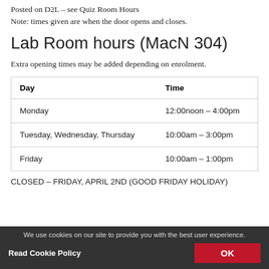Posted on D2L – see Quiz Room Hours
Note: times given are when the door opens and closes.
Lab Room hours (MacN 304)
Extra opening times may be added depending on enrolment.
| Day | Time |
| --- | --- |
| Monday | 12:00noon – 4:00pm |
| Tuesday, Wednesday, Thursday | 10:00am – 3:00pm |
| Friday | 10:00am – 1:00pm |
CLOSED – FRIDAY, APRIL 2ND (GOOD FRIDAY HOLIDAY)
We use cookies on our site to provide you with the best user experience.
Read Cookie Policy   OK